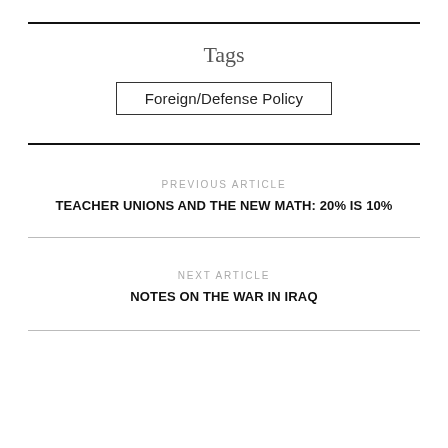Tags
Foreign/Defense Policy
PREVIOUS ARTICLE
TEACHER UNIONS AND THE NEW MATH: 20% IS 10%
NEXT ARTICLE
NOTES ON THE WAR IN IRAQ